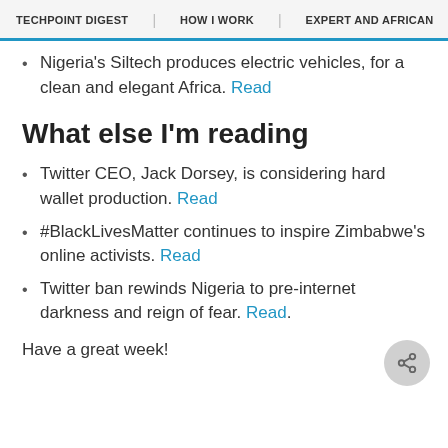TECHPOINT DIGEST | HOW I WORK | EXPERT AND AFRICAN | EQUITY
Nigeria's Siltech produces electric vehicles, for a clean and elegant Africa. Read
What else I'm reading
Twitter CEO, Jack Dorsey, is considering hard wallet production. Read
#BlackLivesMatter continues to inspire Zimbabwe's online activists. Read
Twitter ban rewinds Nigeria to pre-internet darkness and reign of fear. Read.
Have a great week!